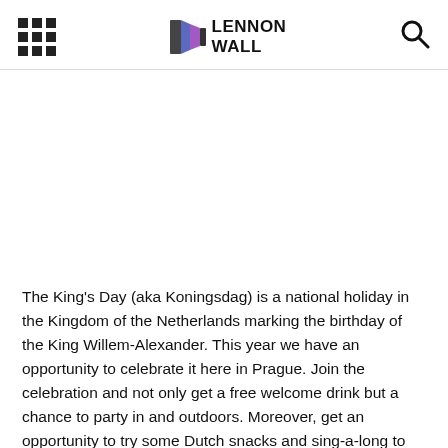LENNON WALL
The King's Day (aka Koningsdag) is a national holiday in the Kingdom of the Netherlands marking the birthday of the King Willem-Alexander. This year we have an opportunity to celebrate it here in Prague. Join the celebration and not only get a free welcome drink but a chance to party in and outdoors. Moreover, get an opportunity to try some Dutch snacks and sing-a-long to the best of their songs.